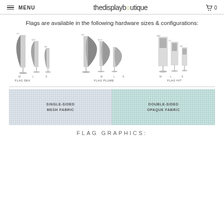MENU | thedisplayboutique | 0
Flags are available in the following hardware sizes & configurations:
[Figure (illustration): Three groups of flag hardware configurations: FLAG SEA (feather flags in multiple sizes), FLAG PLUME (teardrop flags in multiple sizes), and FLAG HIT (rectangular flags in multiple sizes), each shown with size labels and base configurations.]
[Figure (illustration): Two fabric swatches side by side: left is SINGLE-SIDED MESH FABRIC (grey grid texture), right is DOUBLE-SIDED OPAQUE FABRIC (light blue-green grid texture).]
FLAG GRAPHICS: